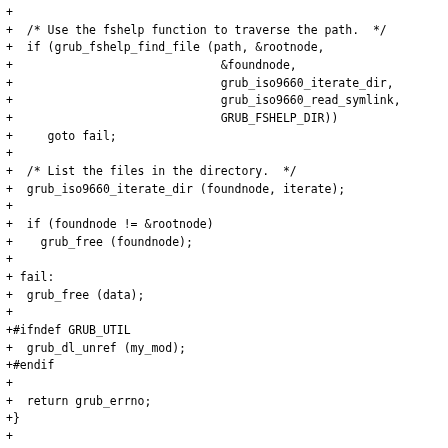+ 
+  /* Use the fshelp function to traverse the path.  */
+  if (grub_fshelp_find_file (path, &rootnode,
+                              &foundnode,
+                              grub_iso9660_iterate_dir,
+                              grub_iso9660_read_symlink,
+                              GRUB_FSHELP_DIR))
+     goto fail;
+
+  /* List the files in the directory.  */
+  grub_iso9660_iterate_dir (foundnode, iterate);
+
+  if (foundnode != &rootnode)
+    grub_free (foundnode);
+
+ fail:
+  grub_free (data);
+
++ifndef GRUB_UTIL
+  grub_dl_unref (my_mod);
++endif
+
+  return grub_errno;
++}
+
+
++/* Open a file named NAME and initialize FILE.  */
++static grub_err_t
++grub_iso9660_open (struct grub_file *file, const char *n
++{